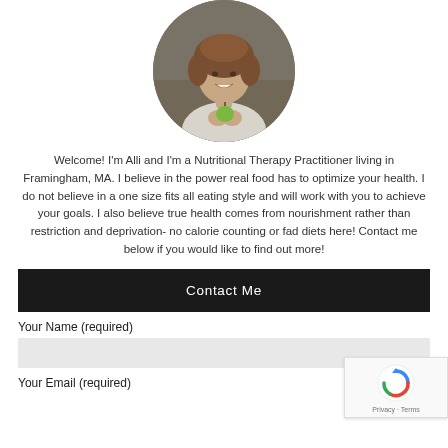[Figure (photo): Circular cropped photo of a smiling woman with curly hair wearing a light sweater and holding a green apple/fruit, photographed outdoors with a blurred background.]
Welcome! I'm Alli and I'm a Nutritional Therapy Practitioner living in Framingham, MA. I believe in the power real food has to optimize your health. I do not believe in a one size fits all eating style and will work with you to achieve your goals. I also believe true health comes from nourishment rather than restriction and deprivation- no calorie counting or fad diets here! Contact me below if you would like to find out more!
Contact Me
Your Name (required)
Your Email (required)